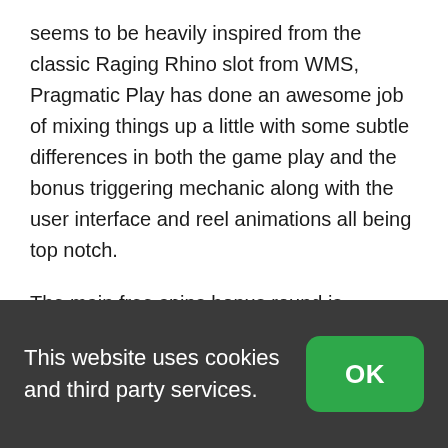seems to be heavily inspired from the classic Raging Rhino slot from WMS, Pragmatic Play has done an awesome job of mixing things up a little with some subtle differences in both the game play and the bonus triggering mechanic along with the user interface and reel animations all being top notch.
The main free spins bonus round is triggered by landing a number of the special Diamond Symbols anywhere on the reels, these symbols
This website uses cookies and third party services.
OK